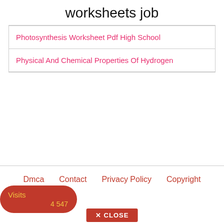worksheets job
Photosynthesis Worksheet Pdf High School
Physical And Chemical Properties Of Hydrogen
Dmca   Contact   Privacy Policy   Copyright
Visits 4 547
✕ CLOSE